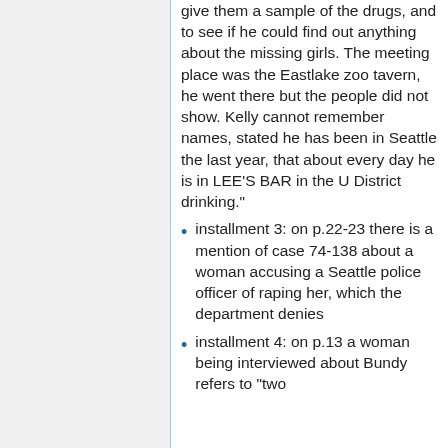give them a sample of the drugs, and to see if he could find out anything about the missing girls. The meeting place was the Eastlake zoo tavern, he went there but the people did not show. Kelly cannot remember names, stated he has been in Seattle the last year, that about every day he is in LEE'S BAR in the U District drinking."
installment 3: on p.22-23 there is a mention of case 74-138 about a woman accusing a Seattle police officer of raping her, which the department denies
installment 4: on p.13 a woman being interviewed about Bundy refers to "two